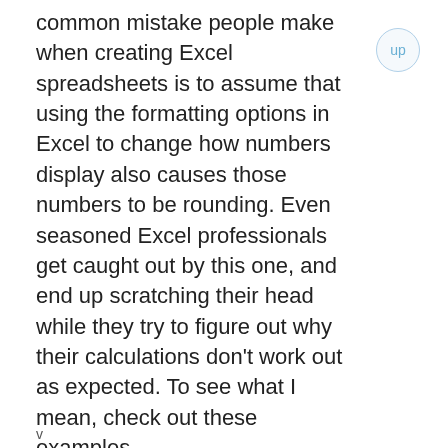common mistake people make when creating Excel spreadsheets is to assume that using the formatting options in Excel to change how numbers display also causes those numbers to be rounding. Even seasoned Excel professionals get caught out by this one, and end up scratching their head while they try to figure out why their calculations don't work out as expected. To see what I mean, check out these examples.
v